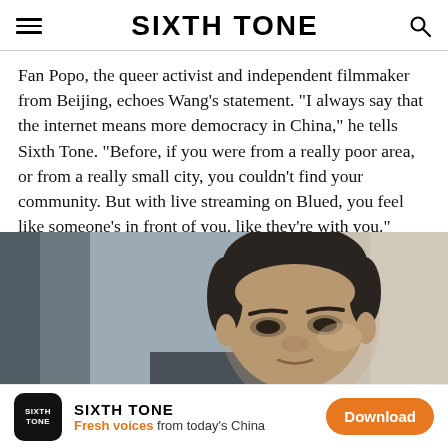SIXTH TONE
Fan Popo, the queer activist and independent filmmaker from Beijing, echoes Wang’s statement. “I always say that the internet means more democracy in China,” he tells Sixth Tone. “Before, if you were from a really poor area, or from a really small city, you couldn’t find your community. But with live streaming on Blued, you feel like someone’s in front of you, like they’re with you.”
[Figure (photo): Close-up portrait photograph of a young Asian man looking slightly downward, with short dark hair, against a blurred light-colored background.]
SIXTH TONE
Fresh voices from today’s China